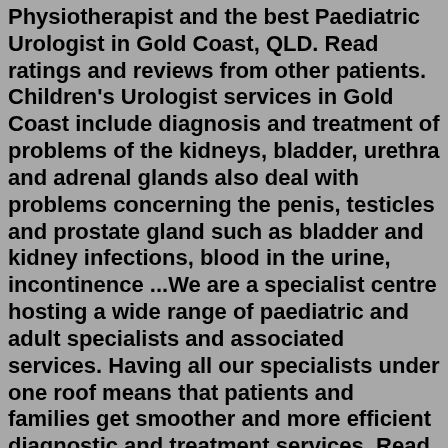Physiotherapist and the best Paediatric Urologist in Gold Coast, QLD. Read ratings and reviews from other patients. Children's Urologist services in Gold Coast include diagnosis and treatment of problems of the kidneys, bladder, urethra and adrenal glands also deal with problems concerning the penis, testicles and prostate gland such as bladder and kidney infections, blood in the urine, incontinence ...We are a specialist centre hosting a wide range of paediatric and adult specialists and associated services. Having all our specialists under one roof means that patients and families get smoother and more efficient diagnostic and treatment services. Read moreUrachal disorders are usually diagnosed when there are symptoms such as: drainage from the umbilicus, redness around umbilicus, abdominal pain, or urinary tract infection. An ultrasound can often detect urachal anomalies but occasionally other tests are needed. A sinogram or sinography is a test where contrast is injected into the umbilicus to ...Dr Danielle Delaney is an experienced Paediatric and Adult Urological Surgeon who has